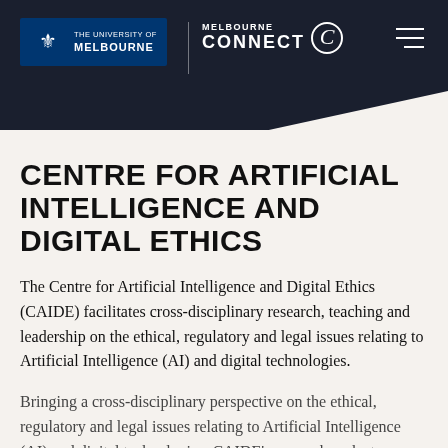[Figure (logo): University of Melbourne and Melbourne Connect logos with hamburger menu on dark navy header]
CENTRE FOR ARTIFICIAL INTELLIGENCE AND DIGITAL ETHICS
The Centre for Artificial Intelligence and Digital Ethics (CAIDE) facilitates cross-disciplinary research, teaching and leadership on the ethical, regulatory and legal issues relating to Artificial Intelligence (AI) and digital technologies.
Bringing a cross-disciplinary perspective on the ethical, regulatory and legal issues relating to Artificial Intelligence (AI) and digital technologies, CAIDE's research seeks to explore the impact, deployment and governance of this emerging